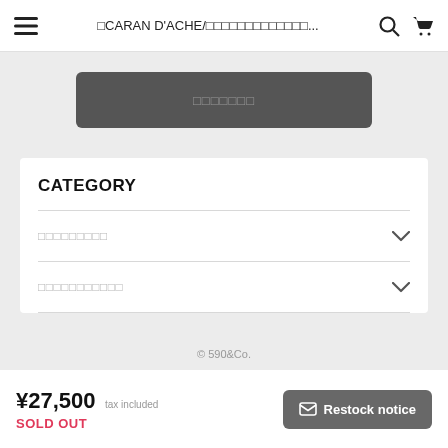≡ CARAN D'ACHE/카란다쉬... 🔍 🛒
[Figure (screenshot): Dark gray rounded button with light gray placeholder text (Japanese/Korean characters)]
CATEGORY
カテゴリー1 (dropdown)
カテゴリー2 (dropdown)
© 590&Co.
¥27,500 tax included
SOLD OUT
✉ Restock notice